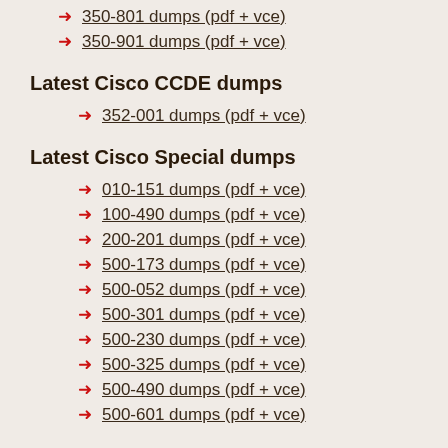350-801 dumps (pdf + vce)
350-901 dumps (pdf + vce)
Latest Cisco CCDE dumps
352-001 dumps (pdf + vce)
Latest Cisco Special dumps
010-151 dumps (pdf + vce)
100-490 dumps (pdf + vce)
200-201 dumps (pdf + vce)
500-173 dumps (pdf + vce)
500-052 dumps (pdf + vce)
500-301 dumps (pdf + vce)
500-230 dumps (pdf + vce)
500-325 dumps (pdf + vce)
500-490 dumps (pdf + vce)
500-601 dumps (pdf + vce)